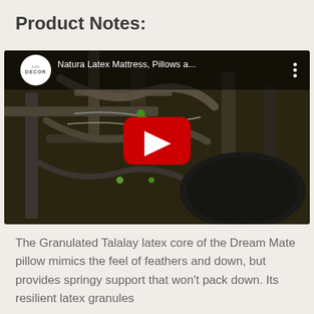Product Notes:
[Figure (screenshot): YouTube video embed thumbnail showing an industrial machine with pipes and machinery. Video title overlay reads 'Natura Latex Mattress, Pillows a...' with LuxeDECOR channel logo in top-left corner and YouTube play button in center.]
The Granulated Talalay latex core of the Dream Mate pillow mimics the feel of feathers and down, but provides springy support that won't pack down. Its resilient latex granules